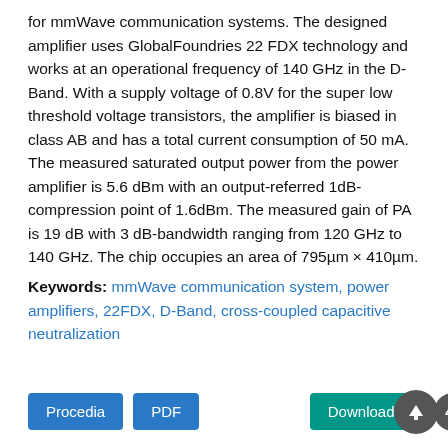for mmWave communication systems. The designed amplifier uses GlobalFoundries 22 FDX technology and works at an operational frequency of 140 GHz in the D-Band. With a supply voltage of 0.8V for the super low threshold voltage transistors, the amplifier is biased in class AB and has a total current consumption of 50 mA. The measured saturated output power from the power amplifier is 5.6 dBm with an output-referred 1dB-compression point of 1.6dBm. The measured gain of PA is 19 dB with 3 dB-bandwidth ranging from 120 GHz to 140 GHz. The chip occupies an area of 795µm × 410µm.
Keywords: mmWave communication system, power amplifiers, 22FDX, D-Band, cross-coupled capacitive neutralization